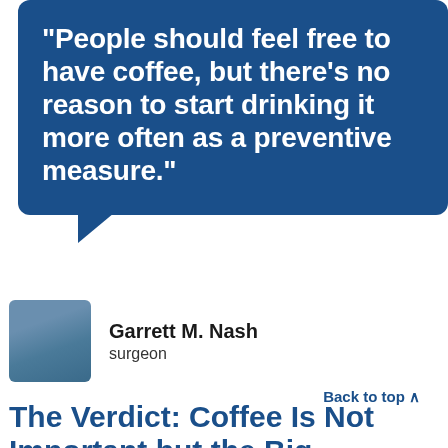“People should feel free to have coffee, but there’s no reason to start drinking it more often as a preventive measure.”
Garrett M. Nash
surgeon
Back to top ∧
The Verdict: Coffee Is Not Important but the Big